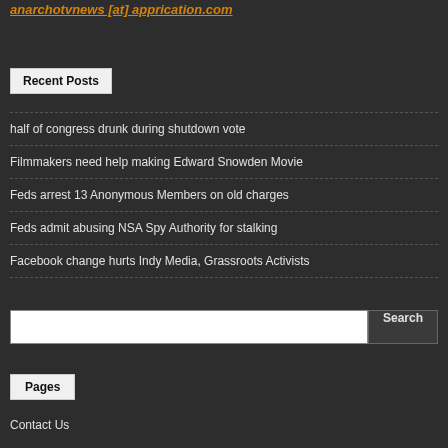anarchotvnews [at] apprication.com
Recent Posts
half of congress drunk during shutdown vote
Filmmakers need help making Edward Snowden Movie
Feds arrest 13 Anonymous Members on old charges
Feds admit abusing NSA Spy Authority for stalking
Facebook change hurts Indy Media, Grassroots Activists
Pages
Contact Us